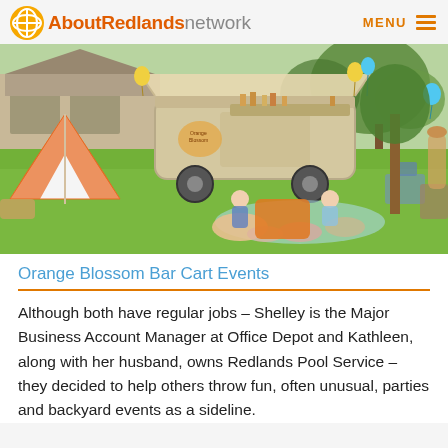AboutRedlands network  MENU
[Figure (photo): Outdoor backyard event scene with a vintage food/drink trailer, children playing on grass with pillows and cushions, striped tent on the left, trees, and patio furniture on the right.]
Orange Blossom Bar Cart Events
Although both have regular jobs – Shelley is the Major Business Account Manager at Office Depot and Kathleen, along with her husband, owns Redlands Pool Service – they decided to help others throw fun, often unusual, parties and backyard events as a sideline.